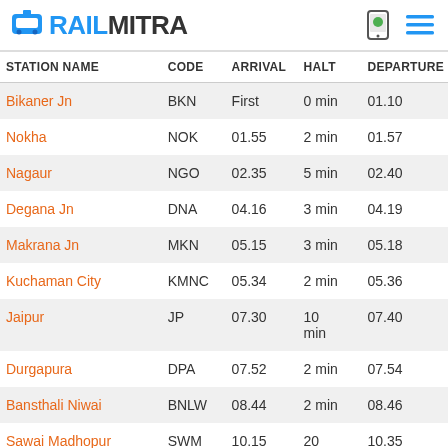RAILMITRA
| STATION NAME | CODE | ARRIVAL | HALT | DEPARTURE |
| --- | --- | --- | --- | --- |
| Bikaner Jn | BKN | First | 0 min | 01.10 |
| Nokha | NOK | 01.55 | 2 min | 01.57 |
| Nagaur | NGO | 02.35 | 5 min | 02.40 |
| Degana Jn | DNA | 04.16 | 3 min | 04.19 |
| Makrana Jn | MKN | 05.15 | 3 min | 05.18 |
| Kuchaman City | KMNC | 05.34 | 2 min | 05.36 |
| Jaipur | JP | 07.30 | 10 min | 07.40 |
| Durgapura | DPA | 07.52 | 2 min | 07.54 |
| Bansthali Niwai | BNLW | 08.44 | 2 min | 08.46 |
| Sawai Madhopur | SWM | 10.15 | 20 min | 10.35 |